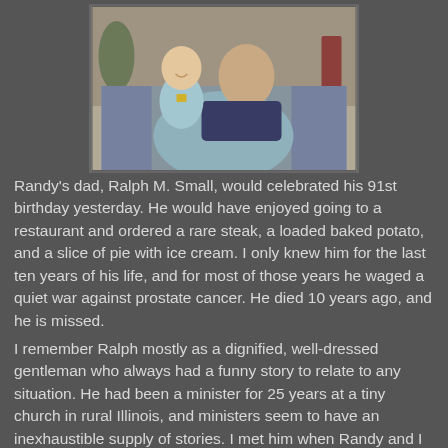[Figure (photo): A man sitting in a chair holding a baby. The baby is wearing a light blue outfit. The man is wearing a dark blue sweater. The chair appears to have a patterned blanket or cover. Background shows a Christmas tree and interior room setting. The photo has a vintage/film quality appearance.]
Randy's dad, Ralph M. Small, would celebrated his 91st birthday yesterday. He would have enjoyed going to a restaurant and ordered a rare steak, a loaded baked potato, and a slice of pie with ice cream. I only knew him for the last ten years of his life, and for most of those years he waged a quiet war against prostate cancer. He died 10 years ago, and he is missed.
I remember Ralph mostly as a dignified, well-dressed gentleman who always had a funny story to relate to any situation. He had been a minister for 25 years at a tiny church in rural Illinois, and ministers seem to have an inexhaustible supply of stories. I met him when Randy and I began dating in college, and he was nearing retirement after